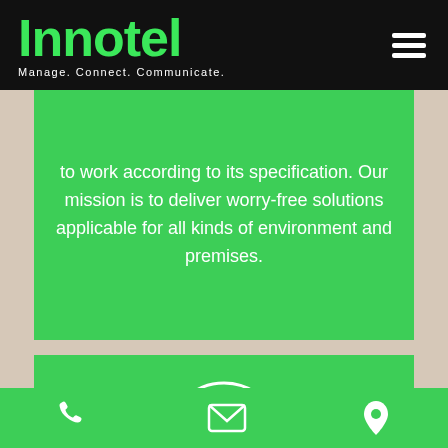Innotel — Manage. Connect. Communicate.
to work according to its specification. Our mission is to deliver worry-free solutions applicable for all kinds of environment and premises.
[Figure (illustration): Circle icon containing crossed screwdriver and wrench tools in white on green background]
Phone, Email, Location icons